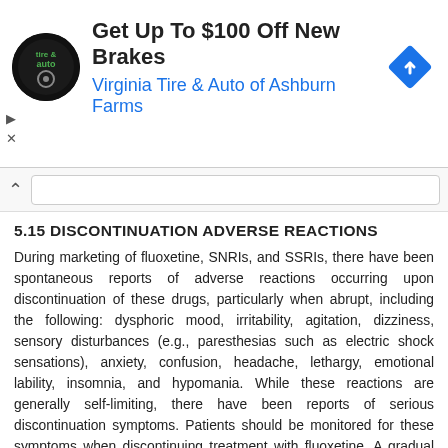[Figure (other): Advertisement banner: 'Get Up To $100 Off New Brakes' from Virginia Tire & Auto of Ashburn Farms, with circular logo on left and blue diamond navigation icon on right.]
5.15 DISCONTINUATION ADVERSE REACTIONS
During marketing of fluoxetine, SNRIs, and SSRIs, there have been spontaneous reports of adverse reactions occurring upon discontinuation of these drugs, particularly when abrupt, including the following: dysphoric mood, irritability, agitation, dizziness, sensory disturbances (e.g., paresthesias such as electric shock sensations), anxiety, confusion, headache, lethargy, emotional lability, insomnia, and hypomania. While these reactions are generally self-limiting, there have been reports of serious discontinuation symptoms. Patients should be monitored for these symptoms when discontinuing treatment with fluoxetine. A gradual reduction in the dose rather than abrupt cessation is recommended whenever possible. If intolerable symptoms occur following a decrease in the dose or upon discontinuation of treatment, then resuming the